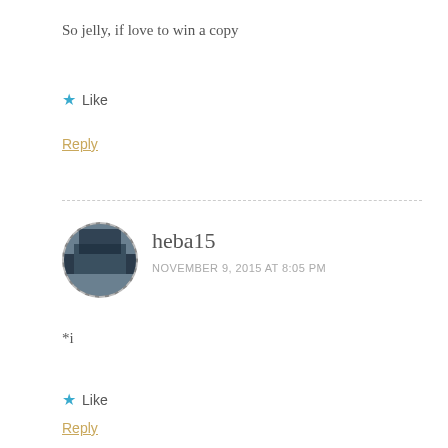So jelly, if love to win a copy
★ Like
Reply
heba15
NOVEMBER 9, 2015 AT 8:05 PM
*i
★ Like
Reply
forestidyls